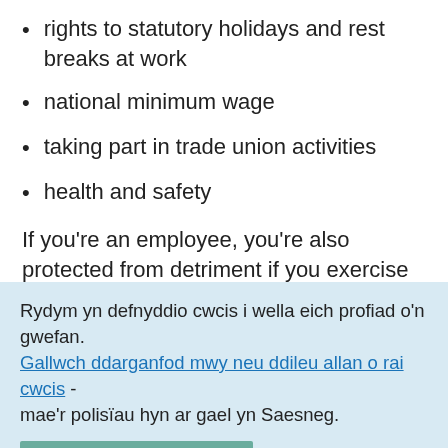rights to statutory holidays and rest breaks at work
national minimum wage
taking part in trade union activities
health and safety
If you're an employee, you're also protected from detriment if you exercise any of the following rights:
you're a young employee and ask for time off for study or training
Rydym yn defnyddio cwcis i wella eich profiad o'n gwefan. Gallwch ddarganfod mwy neu ddileu allan o rai cwcis - mae'r polisïau hyn ar gael yn Saesneg.
Rwy'n iawn gyda cwcis ×